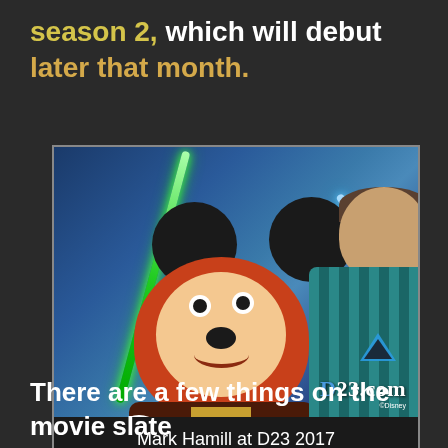season 2, which will debut later that month.
[Figure (photo): Photo of Mark Hamill posing with Mickey Mouse dressed as a Jedi at D23 2017, both holding lightsabers against a blue background. D23.com watermark visible.]
Mark Hamill at D23 2017
There are a few things on the movie slate